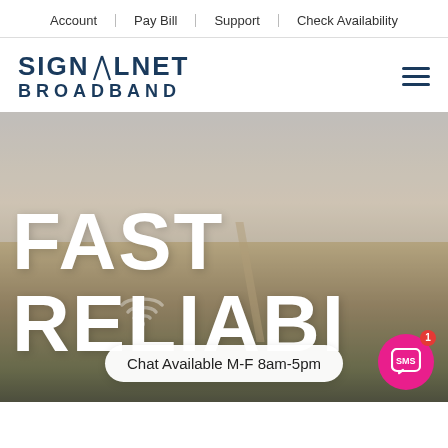Account | Pay Bill | Support | Check Availability
[Figure (logo): SignalNet Broadband logo with hamburger menu icon]
[Figure (photo): Aerial landscape photo showing farmland and suburban area with hero text overlay reading FAST and RELIABLE, and a chat bubble saying Chat Available M-F 8am-5pm with an SMS button]
FAST
RELIABLE
Chat Available M-F 8am-5pm